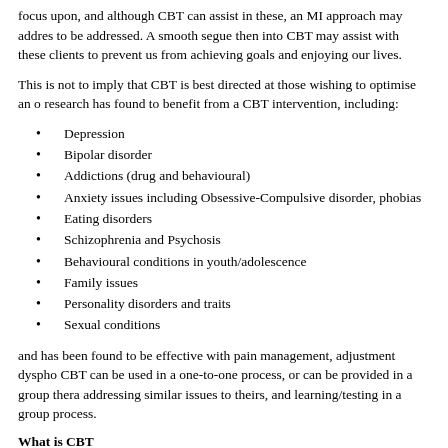focus upon, and although CBT can assist in these, an MI approach may address to be addressed. A smooth segue then into CBT may assist with these clients to prevent us from achieving goals and enjoying our lives.
This is not to imply that CBT is best directed at those wishing to optimise an o research has found to benefit from a CBT intervention, including:
Depression
Bipolar disorder
Addictions (drug and behavioural)
Anxiety issues including Obsessive-Compulsive disorder, phobias
Eating disorders
Schizophrenia and Psychosis
Behavioural conditions in youth/adolescence
Family issues
Personality disorders and traits
Sexual conditions
and has been found to be effective with pain management, adjustment dysphor CBT can be used in a one-to-one process, or can be provided in a group thera addressing similar issues to theirs, and learning/testing in a group process.
What is CBT